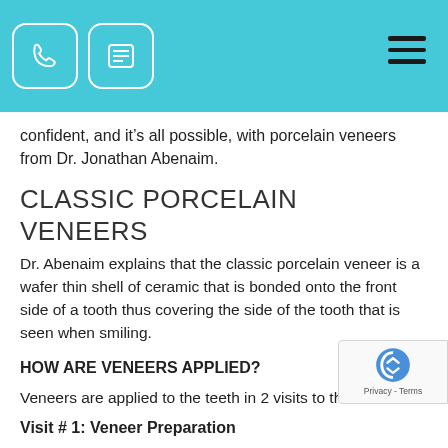[Phone icon] [Form icon] [Hamburger menu]
confident, and it’s all possible, with porcelain veneers from Dr. Jonathan Abenaim.
CLASSIC PORCELAIN VENEERS
Dr. Abenaim explains that the classic porcelain veneer is a wafer thin shell of ceramic that is bonded onto the front side of a tooth thus covering the side of the tooth that is seen when smiling.
HOW ARE VENEERS APPLIED?
Veneers are applied to the teeth in 2 visits to the dentist:
Visit # 1: Veneer Preparation
The teeth are prepared by removing 0.3 to 0.5 mm of enamel (the thickness of a fingernail) to allow room for